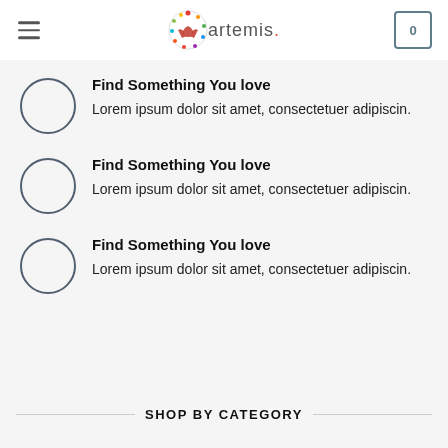artemis.
Find Something You love
Lorem ipsum dolor sit amet, consectetuer adipiscin.
Find Something You love
Lorem ipsum dolor sit amet, consectetuer adipiscin.
Find Something You love
Lorem ipsum dolor sit amet, consectetuer adipiscin.
SHOP BY CATEGORY